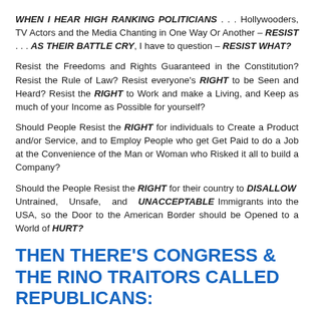WHEN I HEAR HIGH RANKING POLITICIANS . . . Hollywooders, TV Actors and the Media Chanting in One Way Or Another – RESIST . . . AS THEIR BATTLE CRY, I have to question – RESIST WHAT?
Resist the Freedoms and Rights Guaranteed in the Constitution? Resist the Rule of Law? Resist everyone's RIGHT to be Seen and Heard? Resist the RIGHT to Work and make a Living, and Keep as much of your Income as Possible for yourself?
Should People Resist the RIGHT for individuals to Create a Product and/or Service, and to Employ People who get Get Paid to do a Job at the Convenience of the Man or Woman who Risked it all to build a Company?
Should the People Resist the RIGHT for their country to DISALLOW Untrained, Unsafe, and UNACCEPTABLE Immigrants into the USA, so the Door to the American Border should be Opened to a World of HURT?
THEN THERE'S CONGRESS & THE RINO TRAITORS CALLED REPUBLICANS: